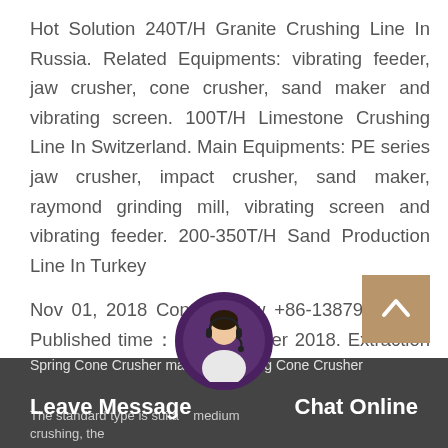Hot Solution 240T/H Granite Crushing Line In Russia. Related Equipments: vibrating feeder, jaw crusher, cone crusher, sand maker and vibrating screen. 100T/H Limestone Crushing Line In Switzerland. Main Equipments: PE series jaw crusher, impact crusher, sand maker, raymond grinding mill, vibrating screen and vibrating feeder. 200-350T/H Sand Production Line In Turkey
Nov 01, 2018 Contact Now +86-13879771862. Published time：01 November 2018. Extraction of tungsten has a different method, include gravity separation, magnetic separation, flotation process. It can only constant testing to determine the best way to the extraction of tungsten from its ore.
Spring Cone Crusher manufacturer, Spring Cone Crusher The standard type is suitable for medium crushing, the
Leave Message
Chat Online